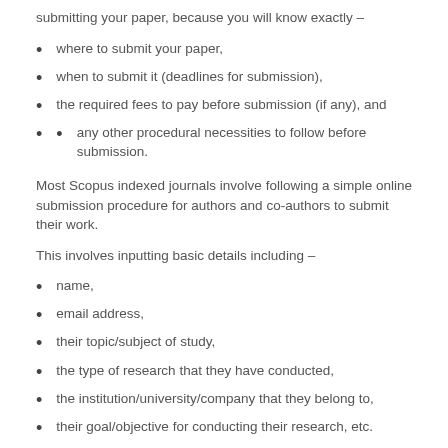submitting your paper, because you will know exactly –
where to submit your paper,
when to submit it (deadlines for submission),
the required fees to pay before submission (if any), and
any other procedural necessities to follow before submission.
Most Scopus indexed journals involve following a simple online submission procedure for authors and co-authors to submit their work.
This involves inputting basic details including –
name,
email address,
their topic/subject of study,
the type of research that they have conducted,
the institution/university/company that they belong to,
their goal/objective for conducting their research, etc.